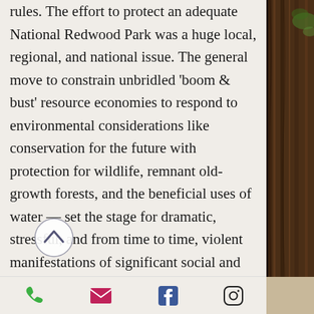rules. The effort to protect an adequate National Redwood Park was a huge local, regional, and national issue. The general move to constrain unbridled 'boom & bust' resource economies to respond to environmental considerations like conservation for the future with protection for wildlife, remnant old-growth forests, and the beneficial uses of water — set the stage for dramatic, stressful, and from time to time, violent manifestations of significant social and cultural change. I don't have the time and space to detail all the important legal cases, other events, and situations leading up to the July 25th, 1985 EPIC v. Johnson
[Figure (other): Circular scroll-up button with upward chevron arrow, overlaid on the text]